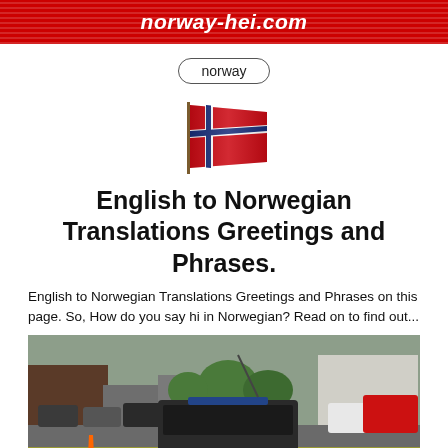norway-hei.com
norway
[Figure (illustration): Animated Norwegian flag waving on a flagpole]
English to Norwegian Translations Greetings and Phrases.
English to Norwegian Translations Greetings and Phrases on this page. So, How do you say hi in Norwegian? Read on to find out...
[Figure (photo): Street scene in Norway showing cars in a parking lot or road, with buildings in the background. A police or emergency vehicle is visible in the foreground.]